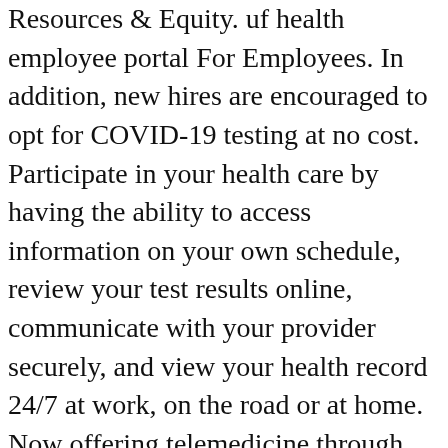Resources & Equity. uf health employee portal For Employees. In addition, new hires are encouraged to opt for COVID-19 testing at no cost. Participate in your health care by having the ability to access information on your own schedule, review your test results online, communicate with your provider securely, and view your health record 24/7 at work, on the road or at home. Now offering telemedicine through our Virtual Visit online program for primary care and specialty care visits → Virtual Visit appointments are available for new and existing UF Health patients. Find out how to use Self-Service to update it. Access is subject to audit and is monitored. UF Information Technology staff monitor usage to gauge the usefulness of UFApps and each application offered to the UF student and faculty community. Please note you are logging into the